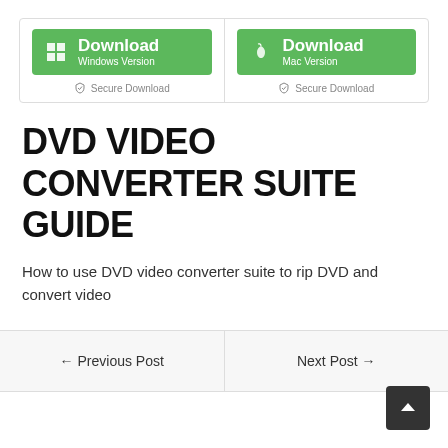[Figure (screenshot): Two green download buttons side by side in a bordered box: 'Download Windows Version' and 'Download Mac Version', each with a 'Secure Download' label below.]
DVD VIDEO CONVERTER SUITE GUIDE
How to use DVD video converter suite to rip DVD and convert video
← Previous Post
Next Post →